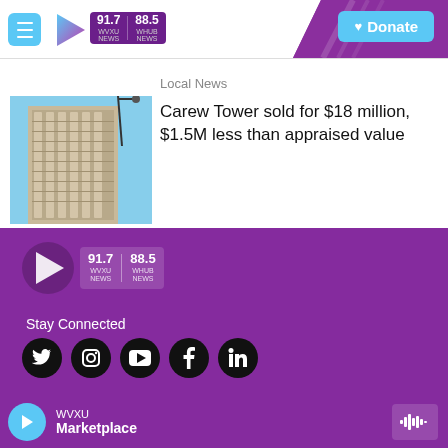WVXU 91.7 NEWS / WHUB 88.5 NEWS — Donate
Local News
[Figure (photo): Upward-angle photo of Carew Tower skyscraper facade against blue sky with a street lamp visible]
Carew Tower sold for $18 million, $1.5M less than appraised value
[Figure (logo): WVXU 91.7 NEWS / WHUB 88.5 NEWS logo on purple background with play arrow icon]
Stay Connected
WVXU Marketplace
[Figure (infographic): Social media icons: Twitter, Instagram, YouTube, Facebook, LinkedIn]